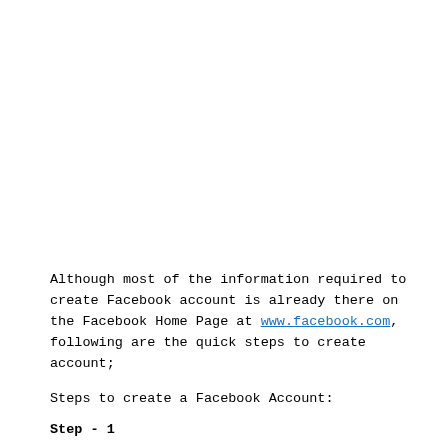Although most of the information required to create Facebook account is already there on the Facebook Home Page at www.facebook.com, following are the quick steps to create account;
Steps to create a Facebook Account:
Step - 1